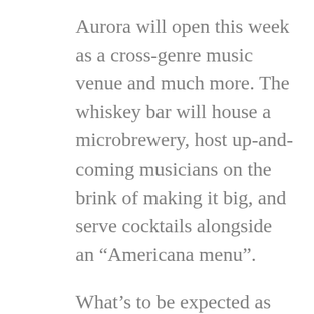Aurora will open this week as a cross-genre music venue and much more. The whiskey bar will house a microbrewery, host up-and-coming musicians on the brink of making it big, and serve cocktails alongside an “Americana menu”.
What’s to be expected as far as atmosphere and design? “An old time American tavern feel,” says Crook. We’ve heard through the music crazy, East Aurora grapevine that an enormous amount of thought and effort (among other things) has gone into a beautiful design and an exciting concept for 189